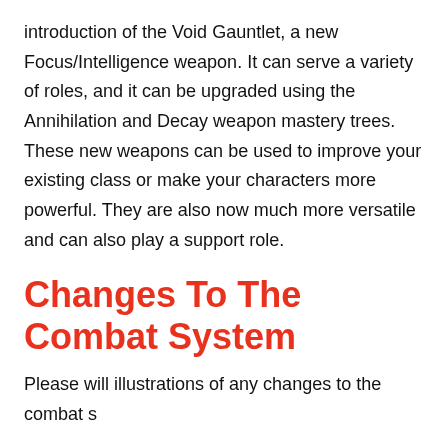introduction of the Void Gauntlet, a new Focus/Intelligence weapon. It can serve a variety of roles, and it can be upgraded using the Annihilation and Decay weapon mastery trees. These new weapons can be used to improve your existing class or make your characters more powerful. They are also now much more versatile and can also play a support role.
Changes To The Combat System
Please will illustrations of any changes to the combat system...